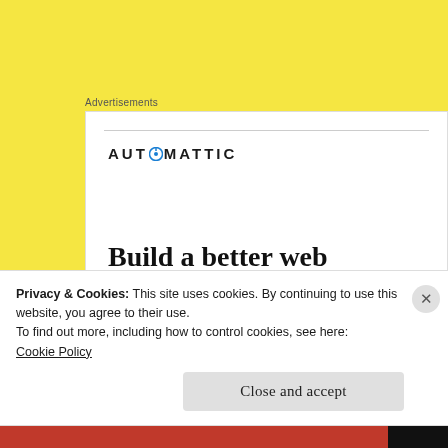Advertisements
[Figure (logo): Automattic advertisement box with logo and tagline 'Build a better web']
May 4 – Lelah came up on noon train. Not do
Privacy & Cookies: This site uses cookies. By continuing to use this website, you agree to their use.
To find out more, including how to control cookies, see here:
Cookie Policy
Close and accept